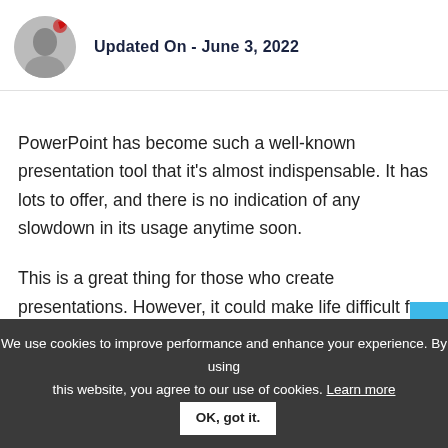Updated On - June 3, 2022
PowerPoint has become such a well-known presentation tool that it's almost indispensable. It has lots to offer, and there is no indication of any slowdown in its usage anytime soon.
This is a great thing for those who create presentations. However, it could make life difficult for those who do not
We use cookies to improve performance and enhance your experience. By using this website, you agree to our use of cookies. Learn more  OK, got it.